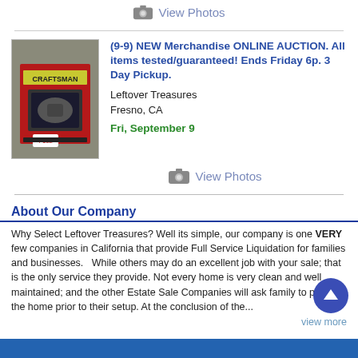[Figure (other): Camera icon with 'View Photos' link at top]
[Figure (photo): Photo of Craftsman power tool in red packaging]
(9-9) NEW Merchandise ONLINE AUCTION. All items tested/guaranteed! Ends Friday 6p. 3 Day Pickup.
Leftover Treasures
Fresno, CA
Fri, September 9
[Figure (other): Camera icon with 'View Photos' link]
About Our Company
Why Select Leftover Treasures? Well its simple, our company is one VERY few companies in California that provide Full Service Liquidation for families and businesses.   While others may do an excellent job with your sale; that is the only service they provide. Not every home is very clean and well maintained; and the other Estate Sale Companies will ask family to prepare the home prior to their setup. At the conclusion of the...
view more
Recent Customer Feedback
Be the first to leave feedback for this company